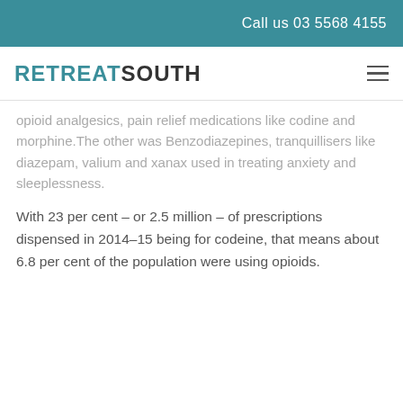Call us 03 5568 4155
RETREAT SOUTH
opioid analgesics, pain relief medications like codine and morphine.The other was Benzodiazepines, tranquillisers like diazepam, valium and xanax used in treating anxiety and sleeplessness.
With 23 per cent – or 2.5 million – of prescriptions dispensed in 2014–15 being for codeine, that means about 6.8 per cent of the population were using opioids.